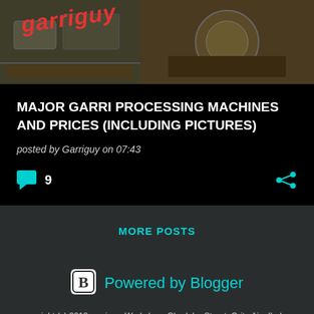[Figure (photo): Photo collage of garri processing machines with 'garriguy' text overlay in red italic letters]
MAJOR GARRI PROCESSING MACHINES AND PRICES (INCLUDING PICTURES)
posted by Garriguy on 07:43
9 [comments icon] [share icon]
MORE POSTS
[Figure (logo): Blogger logo icon (B in rounded square)]
Powered by Blogger
copyright (c) 2018 garriguy. Workshop: Gbadebo Street, Orita Aje, Iludun, Osogbo, Osun State